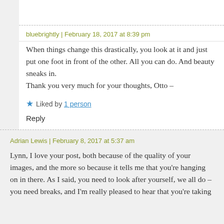bluebrightly | February 18, 2017 at 8:39 pm
When things change this drastically, you look at it and just put one foot in front of the other. All you can do. And beauty sneaks in.
Thank you very much for your thoughts, Otto –
★ Liked by 1 person
Reply
Adrian Lewis | February 8, 2017 at 5:37 am
Lynn, I love your post, both because of the quality of your images, and the more so because it tells me that you're hanging on in there. As I said, you need to look after yourself, we all do – you need breaks, and I'm really pleased to hear that you're taking